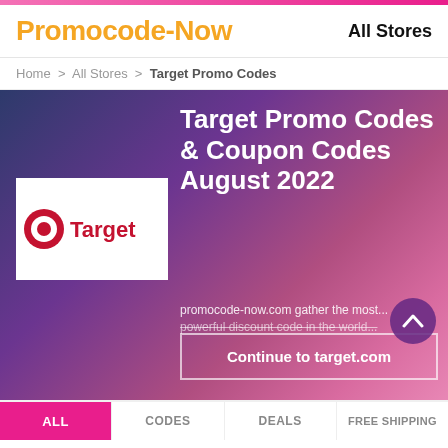Promocode-Now   All Stores
Home > All Stores > Target Promo Codes
Target Promo Codes & Coupon Codes August 2022
[Figure (logo): Target store logo: red bullseye circle and the word 'Target' in red on white background]
promocode-now.com gather the most... powerful discount code in the world...
Continue to target.com
ALL   CODES   DEALS   FREE SHIPPING